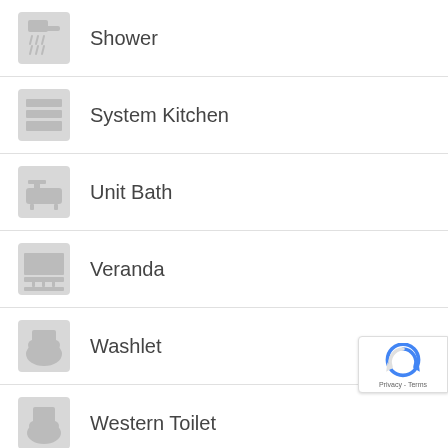Shower
System Kitchen
Unit Bath
Veranda
Washlet
Western Toilet
Transportation
Akasaka Station (Tokyo Metro Chiyoda Line)